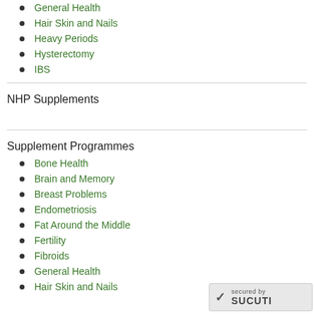General Health
Hair Skin and Nails
Heavy Periods
Hysterectomy
IBS
NHP Supplements
Supplement Programmes
Bone Health
Brain and Memory
Breast Problems
Endometriosis
Fat Around the Middle
Fertility
Fibroids
General Health
Hair Skin and Nails